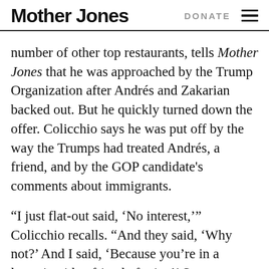Mother Jones  DONATE
number of other top restaurants, tells Mother Jones that he was approached by the Trump Organization after Andrés and Zakarian backed out. But he quickly turned down the offer. Colicchio says he was put off by the way the Trumps had treated Andrés, a friend, and by the GOP candidate's comments about immigrants.
“I just flat-out said, ‘No interest,’” Colicchio recalls. “And they said, ‘Why not?’ And I said, ‘Because you’re in a lawsuit with a friend of mine!’ So, no. Never. There’s just no way I would do it, and that was the end of the conversation.”
Colicchio says the battle with Andrés has hurt